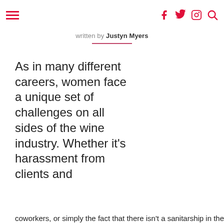≡  [hamburger menu] | [facebook] [twitter] [instagram] [search]
written by Justyn Myers
As in many different careers, women face a unique set of challenges on all sides of the wine industry. Whether it's harassment from clients and coworkers, or simply the fact that there isn't a sanitarship in the